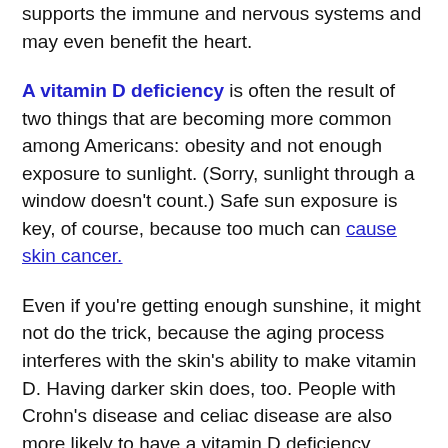supports the immune and nervous systems and may even benefit the heart.
A vitamin D deficiency is often the result of two things that are becoming more common among Americans: obesity and not enough exposure to sunlight. (Sorry, sunlight through a window doesn't count.) Safe sun exposure is key, of course, because too much can cause skin cancer.
Even if you're getting enough sunshine, it might not do the trick, because the aging process interferes with the skin's ability to make vitamin D. Having darker skin does, too. People with Crohn's disease and celiac disease are also more likely to have a vitamin D deficiency.